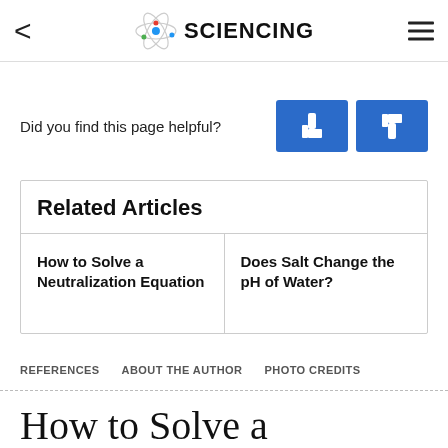SCIENCING
Did you find this page helpful?
Related Articles
How to Solve a Neutralization Equation
Does Salt Change the pH of Water?
REFERENCES   ABOUT THE AUTHOR   PHOTO CREDITS
How to Solve a